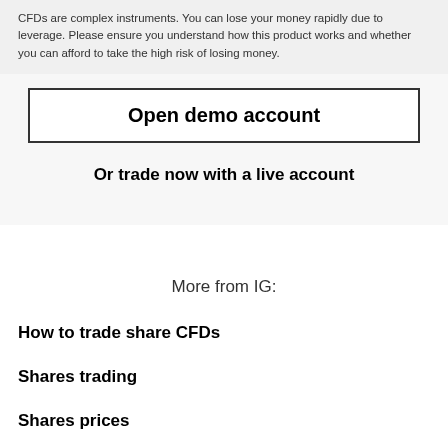CFDs are complex instruments. You can lose your money rapidly due to leverage. Please ensure you understand how this product works and whether you can afford to take the high risk of losing money.
Open demo account
Or trade now with a live account
More from IG:
How to trade share CFDs
Shares trading
Shares prices